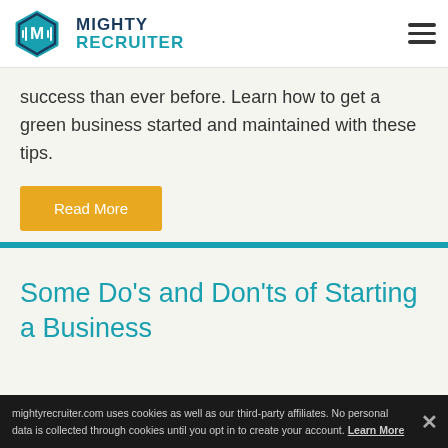[Figure (logo): MightyRecruiter logo with hexagon M icon and bold teal/navy text]
success than ever before. Learn how to get a green business started and maintained with these tips.
Read More
Some Do’s and Don’ts of Starting a Business
mightyrecruiter.com uses cookies as well as our third-party affiliates. No personal data is collected through cookies until you opt in to create your account. Learn More